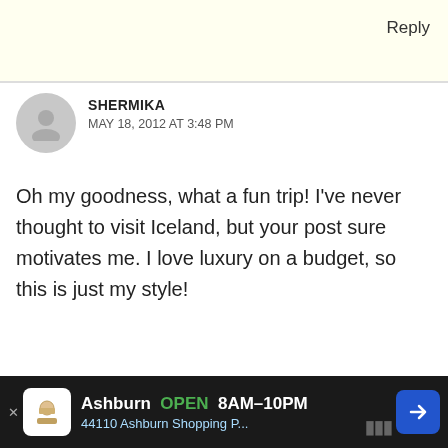Reply
SHERMIKA
MAY 18, 2012 AT 3:48 PM
Oh my goodness, what a fun trip! I've never thought to visit Iceland, but your post sure motivates me. I love luxury on a budget, so this is just my style!
KATE MCCULLEY
MAY 19, 2012 AT 7:26 PM
That's exactly why the Iceland Tourist Board is working
Ashburn  OPEN  8AM–10PM
44110 Ashburn Shopping P...